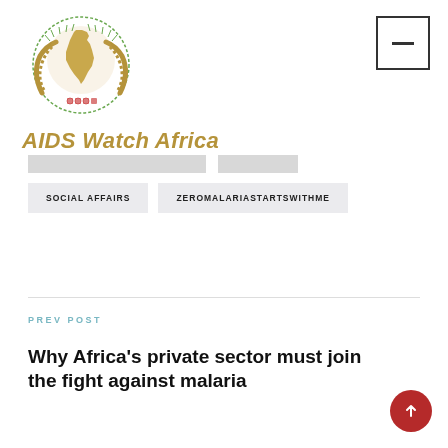[Figure (logo): AIDS Watch Africa logo - African continent map inside a circular wreath emblem in gold/green tones]
AIDS Watch Africa
SOCIAL AFFAIRS
ZEROMALARIASTARTSWITHME
PREV POST
Why Africa’s private sector must join the fight against malaria